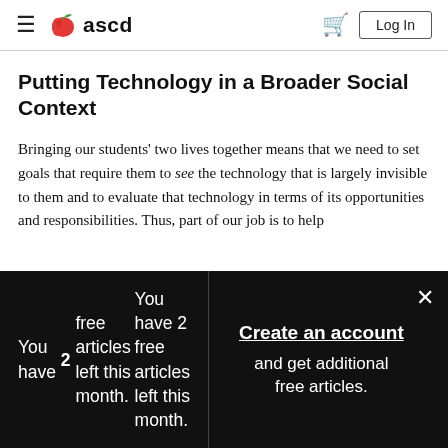ascd — navigation bar with hamburger menu, ASCD logo, cart icon, Log In button
Putting Technology in a Broader Social Context
Bringing our students' two lives together means that we need to set goals that require them to see the technology that is largely invisible to them and to evaluate that technology in terms of its opportunities and responsibilities. Thus, part of our job is to help
You have 2 free articles left this month.
Create an account and get additional free articles.